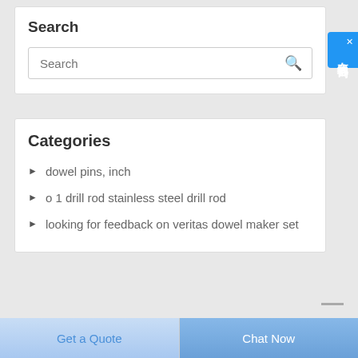Search
Search
[Figure (screenshot): Chinese online chat widget button with text 在线咨询 and X close button, blue background]
Categories
dowel pins, inch
o 1 drill rod stainless steel drill rod
looking for feedback on veritas dowel maker set
Get a Quote
Chat Now